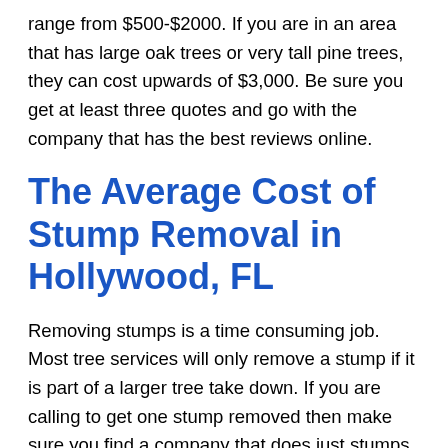range from $500-$2000. If you are in an area that has large oak trees or very tall pine trees, they can cost upwards of $3,000. Be sure you get at least three quotes and go with the company that has the best reviews online.
The Average Cost of Stump Removal in Hollywood, FL
Removing stumps is a time consuming job. Most tree services will only remove a stump if it is part of a larger tree take down. If you are calling to get one stump removed then make sure you find a company that does just stumps. You will be wasting your time